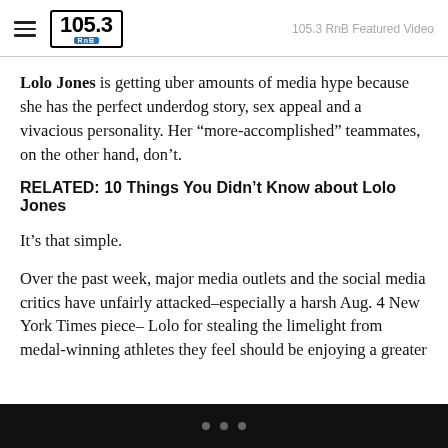105.3 RnB | 105.3 RnB Featured Video
Lolo Jones is getting uber amounts of media hype because she has the perfect underdog story, sex appeal and a vivacious personality. Her “more-accomplished” teammates, on the other hand, don’t.
RELATED: 10 Things You Didn’t Know about Lolo Jones
It’s that simple.
Over the past week, major media outlets and the social media critics have unfairly attacked–especially a harsh Aug. 4 New York Times piece– Lolo for stealing the limelight from medal-winning athletes they feel should be enjoying a greater